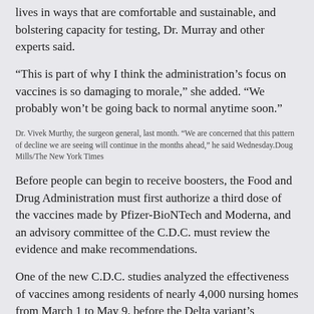lives in ways that are comfortable and sustainable, and bolstering capacity for testing, Dr. Murray and other experts said.
“This is part of why I think the administration’s focus on vaccines is so damaging to morale,” she added. “We probably won’t be going back to normal anytime soon.”
Dr. Vivek Murthy, the surgeon general, last month. “We are concerned that this pattern of decline we are seeing will continue in the months ahead,” he said Wednesday.Doug Mills/The New York Times
Before people can begin to receive boosters, the Food and Drug Administration must first authorize a third dose of the vaccines made by Pfizer-BioNTech and Moderna, and an advisory committee of the C.D.C. must review the evidence and make recommendations.
One of the new C.D.C. studies analyzed the effectiveness of vaccines among residents of nearly 4,000 nursing homes from March 1 to May 9, before the Delta variant’s